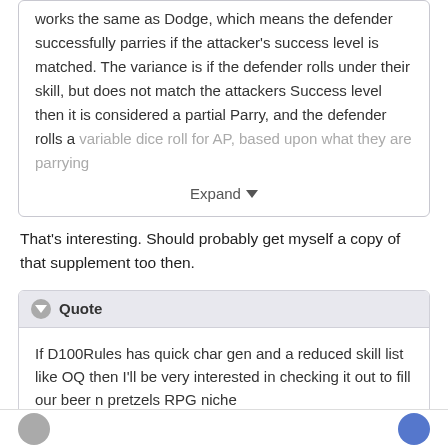works the same as Dodge, which means the defender successfully parries if the attacker's success level is matched. The variance is if the defender rolls under their skill, but does not match the attackers Success level then it is considered a partial Parry, and the defender rolls a variable dice roll for AP, based upon what they are parrying
Expand
That's interesting. Should probably get myself a copy of that supplement too then.
Quote
If D100Rules has quick char gen and a reduced skill list like OQ then I'll be very interested in checking it out to fill our beer n pretzels RPG niche
It's aiming for that niche! :lol: